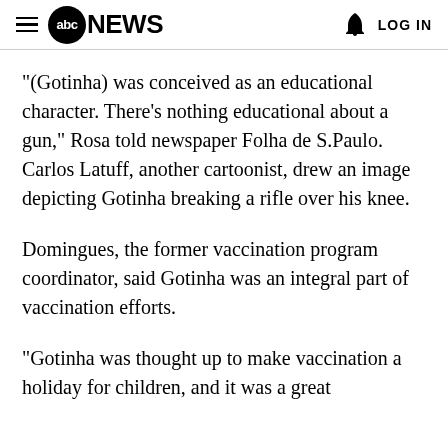abc NEWS   LOG IN
“(Gotinha) was conceived as an educational character. There’s nothing educational about a gun,” Rosa told newspaper Folha de S.Paulo. Carlos Latuff, another cartoonist, drew an image depicting Gotinha breaking a rifle over his knee.
Domingues, the former vaccination program coordinator, said Gotinha was an integral part of vaccination efforts.
“Gotinha was thought up to make vaccination a holiday for children, and it was a great success,” Domingues said. “He was one of the